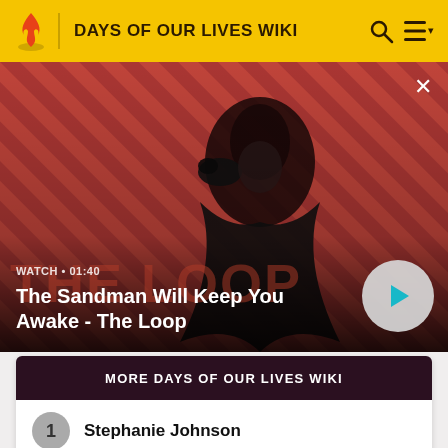DAYS OF OUR LIVES WIKI
[Figure (screenshot): Video thumbnail showing a dark figure with a crow on their shoulder against a red diagonal striped background. Text overlay: WATCH • 01:40. Title: The Sandman Will Keep You Awake - The Loop. Play button visible on right.]
MORE DAYS OF OUR LIVES WIKI
1  Stephanie Johnson